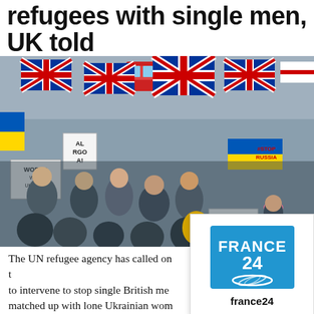refugees with single men, UK told
[Figure (photo): Crowd of protesters at a demonstration holding Union Jack flags, Ukrainian flags, and signs reading 'WORLD WITH UKRAINE', '#STOP RUSSIA', and 'PROTECT'. A red double-decker bus is visible in the background.]
[Figure (logo): France 24 news channel logo: blue square with white text 'FRANCE 24' and white swirl/globe graphic beneath]
The UN refugee agency has called on t... to intervene to stop single British me... matched up with lone Ukrainian wom... from war because of fears of sexual ex...
france24